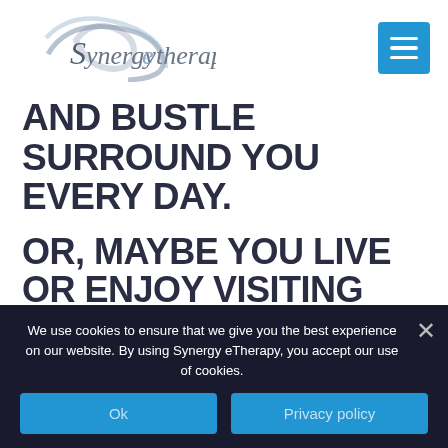[Figure (logo): Synergy eTherapy logo with stylized swoosh/curves in gray-blue and text 'Synergy eTherapy']
AND BUSTLE SURROUND YOU EVERY DAY.
OR, MAYBE YOU LIVE OR ENJOY VISITING SMALLER PENNSYLVANIAN TOWNS LIKE ERIE OR NEW HOPE TO ESCAPE
We use cookies to ensure that we give you the best experience on our website. By using Synergy eTherapy, you accept our use of cookies.